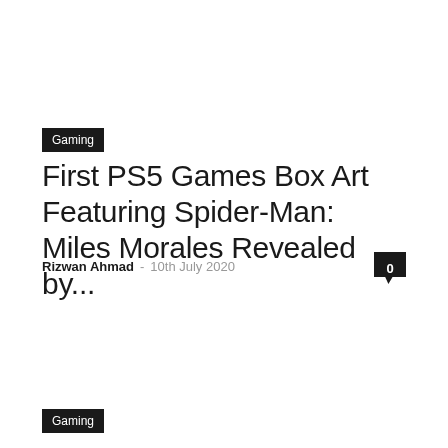Gaming
First PS5 Games Box Art Featuring Spider-Man: Miles Morales Revealed by...
Rizwan Ahmad – 10th July 2020
Gaming